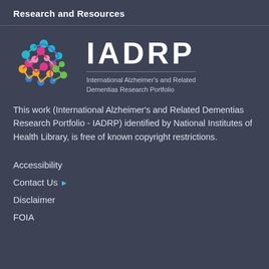Research and Resources
[Figure (logo): IADRP logo with colorful brain made of connected dots on the left, and IADRP text with subtitle 'International Alzheimer's and Related Dementias Research Portfolio' on the right]
This work (International Alzheimer's and Related Dementias Research Portfolio - IADRP) identified by National Institutes of Health Library, is free of known copyright restrictions.
Accessibility
Contact Us
Disclaimer
FOIA